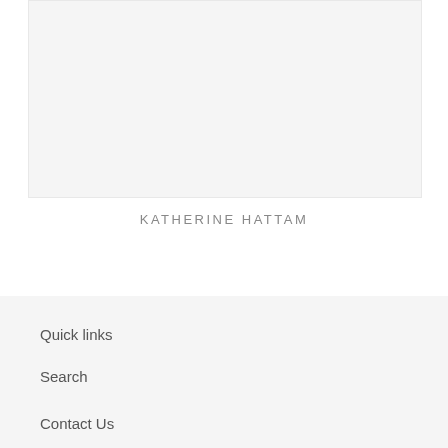[Figure (photo): Light gray rectangular image placeholder area]
KATHERINE HATTAM
Quick links
Search
Contact Us